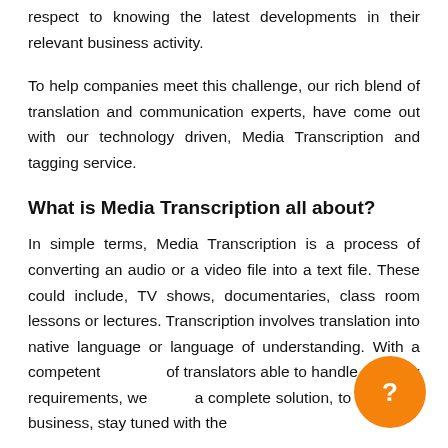respect to knowing the latest developments in their relevant business activity.
To help companies meet this challenge, our rich blend of translation and communication experts, have come out with our technology driven, Media Transcription and tagging service.
What is Media Transcription all about?
In simple terms, Media Transcription is a process of converting an audio or a video file into a text file. These could include, TV shows, documentaries, class room lessons or lectures. Transcription involves translation into native language or language of understanding. With a competent of translators able to handle complex requirements, we provide a complete solution, to help your business, stay tuned with the